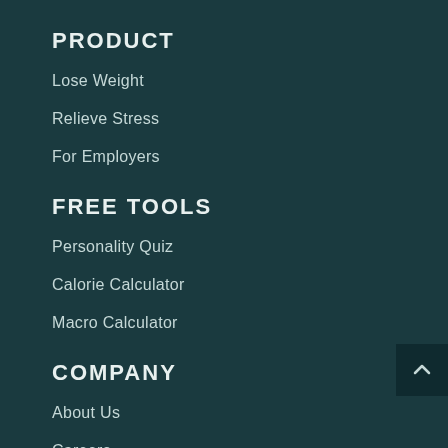PRODUCT
Lose Weight
Relieve Stress
For Employers
FREE TOOLS
Personality Quiz
Calorie Calculator
Macro Calculator
COMPANY
About Us
Careers